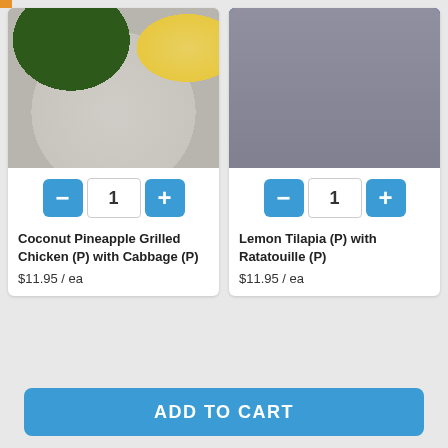[Figure (photo): Coconut Pineapple Grilled Chicken on a white plate with sautéed greens and pineapple sauce]
1
Coconut Pineapple Grilled Chicken (P) with Cabbage (P)
$11.95 / ea
[Figure (photo): Lemon Tilapia on a blue plate with ratatouille vegetables and lemon slices, fork visible]
1
Lemon Tilapia (P) with Ratatouille (P)
$11.95 / ea
ADD TO CART